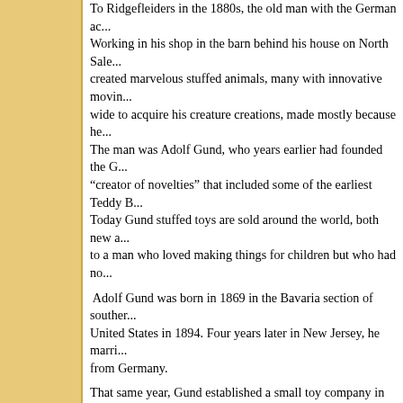To Ridgefleiders in the 1880s, the old man with the German ac... Working in his shop in the barn behind his house on North Sale... created marvelous stuffed animals, many with innovative movin... wide to acquire his creature creations, made mostly because he... The man was Adolf Gund, who years earlier had founded the G... "creator of novelties" that included some of the earliest Teddy B... Today Gund stuffed toys are sold around the world, both new a... to a man who loved making things for children but who had no... Adolf Gund was born in 1869 in the Bavaria section of souther... United States in 1894. Four years later in New Jersey, he marri... from Germany. That same year, Gund established a small toy company in Nor... to more potential customers, he soon moved the operation to M... incorporated as the Gund Manufacturing Company. There he continued to design toys, especially plush animals, so... moving parts for which he obtained several patents. Some coul... could jump, thanks to a spring mechanism, "bringing it to life." H... duck that children could ride on; as the wheels moved, the duc... Gund was not only an innovator in the toy world, but a strong b... he created some of the early safety standards for toys. In the early 1900s, along with Steiff, he was also among the fir... capitalizing on a much publicized incident in which President Th... have refused to kill a captured bear. Gund Teddy Bears are stil... In the 1920s, Gund hired a Russian immigrant named Jacob Sw... cutter and pattern-maker in his small factory. He liked Swedlin...